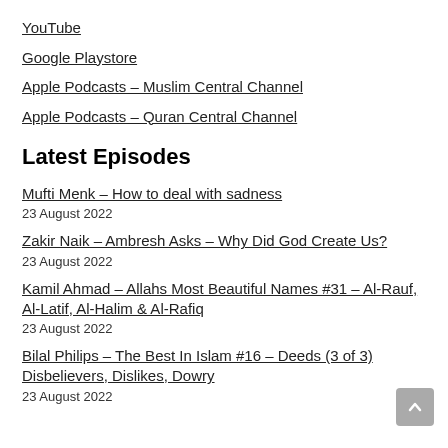YouTube
Google Playstore
Apple Podcasts – Muslim Central Channel
Apple Podcasts – Quran Central Channel
Latest Episodes
Mufti Menk – How to deal with sadness
23 August 2022
Zakir Naik – Ambresh Asks – Why Did God Create Us?
23 August 2022
Kamil Ahmad – Allahs Most Beautiful Names #31 – Al-Rauf, Al-Latif, Al-Halim & Al-Rafiq
23 August 2022
Bilal Philips – The Best In Islam #16 – Deeds (3 of 3) Disbelievers, Dislikes, Dowry
23 August 2022